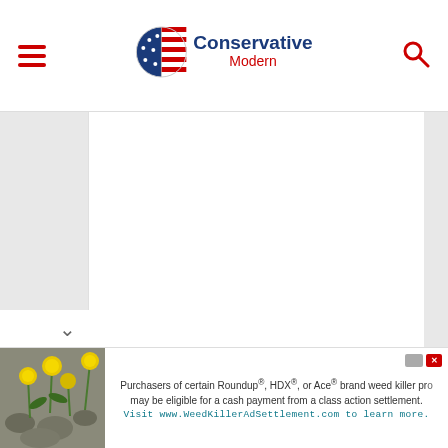Conservative Modern — website header with hamburger menu and search icon
[Figure (screenshot): Large blank white content area representing a webpage article body]
[Figure (infographic): Advertisement banner: dandelion image on left, text reads 'Purchasers of certain Roundup®, HDX®, or Ace® brand weed killer products may be eligible for a cash payment from a class action settlement. Visit www.WeedKillerAdSettlement.com to learn more.']